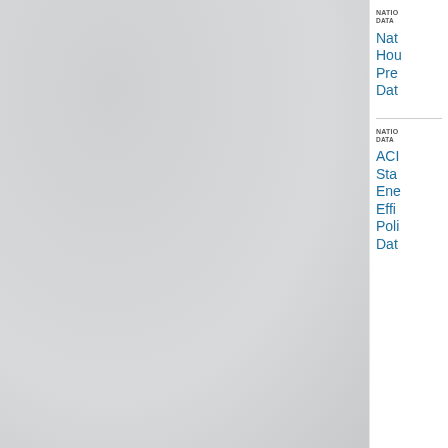[Figure (photo): Light grey textured background panel occupying the left ~82% of the page]
NATIO
DATA
Nat
Hou
Pre
Dat
NATIO
DATA
ACI
Sta
Ene
Effi
Poli
Dat